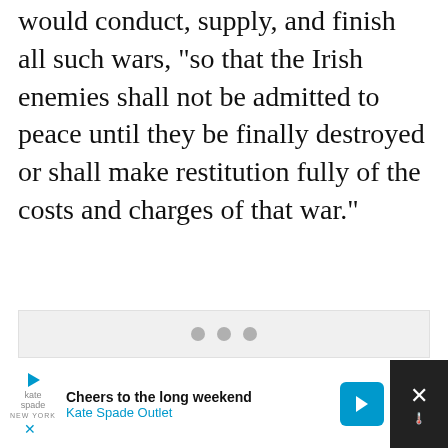would conduct, supply, and finish all such wars, "so that the Irish enemies shall not be admitted to peace until they be finally destroyed or shall make restitution fully of the costs and charges of that war."
[Figure (other): A light gray content area with three gray dots centered, indicating a loading or placeholder image/slideshow element.]
[Figure (other): An advertisement banner at the bottom of the page for Kate Spade Outlet with the text 'Cheers to the long weekend' and 'Kate Spade Outlet', featuring play button, navigation arrow icon, and close button.]